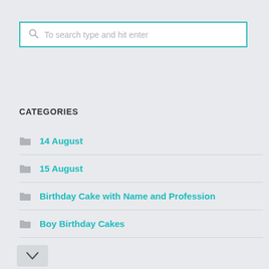[Figure (screenshot): Search input box with teal border and placeholder text 'To search type and hit enter']
CATEGORIES
14 August
15 August
Birthday Cake with Name and Profession
Boy Birthday Cakes
Bridal Shower Name Cakes